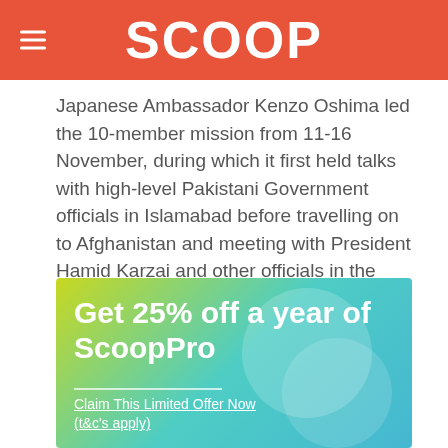SCOOP
Japanese Ambassador Kenzo Oshima led the 10-member mission from 11-16 November, during which it first held talks with high-level Pakistani Government officials in Islamabad before travelling on to Afghanistan and meeting with President Hamid Karzai and other officials in the capital Kabul, as well as in the north and south.
[Figure (infographic): Advertisement banner with gradient background (yellow-green to teal). Text reads: 'Get 25% off a year of ScoopPro'. Below a horizontal divider line: 'Claim This Limited Offer Now (t&c's apply)' as underlined link text.]